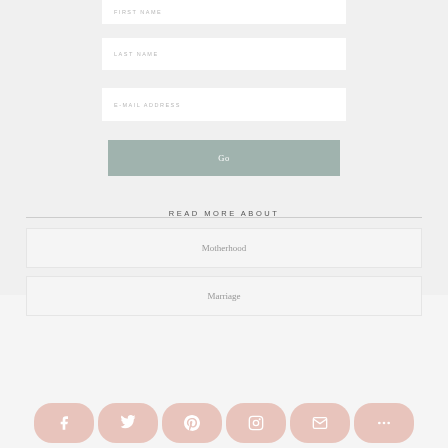[Figure (screenshot): Web form with FIRST NAME input field (partially visible at top)]
[Figure (screenshot): Web form with LAST NAME input field]
[Figure (screenshot): Web form with E-MAIL ADDRESS input field]
[Figure (screenshot): Go button in muted green/sage color]
READ MORE ABOUT
Motherhood
Marriage
[Figure (screenshot): Social media share bar with Facebook, Twitter, Pinterest, Instagram, Email, More buttons in pinkish-beige rounded pill shapes]